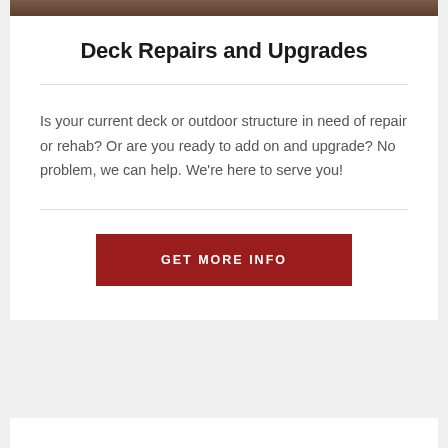[Figure (photo): Partial view of a deck or outdoor structure image at the top of the card]
Deck Repairs and Upgrades
Is your current deck or outdoor structure in need of repair or rehab? Or are you ready to add on and upgrade? No problem, we can help. We're here to serve you!
GET MORE INFO